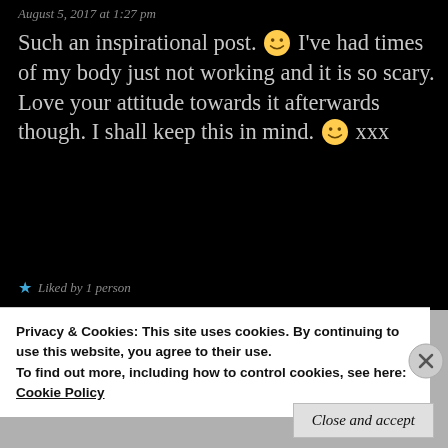August 5, 2017 at 1:27 pm
Such an inspirational post. 🙂 I've had times of my body just not working and it is so scary. Love your attitude towards it afterwards though. I shall keep this in mind. 🙂 xxx
★ Liked by 1 person
Privacy & Cookies: This site uses cookies. By continuing to use this website, you agree to their use.
To find out more, including how to control cookies, see here: Cookie Policy
Close and accept